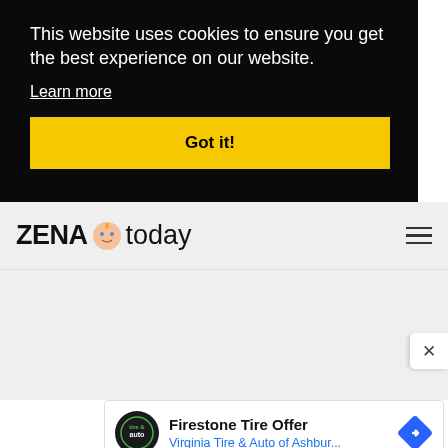This website uses cookies to ensure you get the best experience on our website.
Learn more
Got it!
[Figure (logo): ZENA today logo with baby face icon]
Firestone Tire Offer
Virginia Tire & Auto of Ashbur...